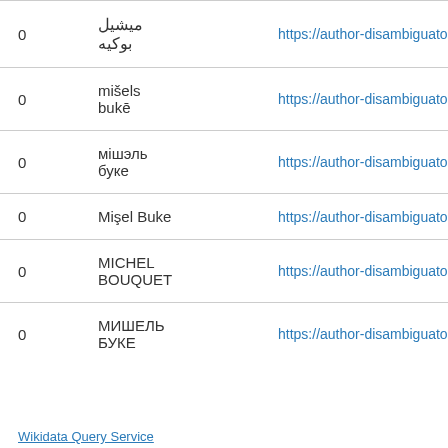| 0 | ميشيل بوكيه | https://author-disambiguator.tool |
| 0 | mišels bukē | https://author-disambiguator.tool |
| 0 | мішэль буке | https://author-disambiguator.tool |
| 0 | Mişel Buke | https://author-disambiguator.tool |
| 0 | MICHEL BOUQUET | https://author-disambiguator.tool |
| 0 | МИШЕЛЬ БУКЕ | https://author-disambiguator.tool |
Wikidata Query Service